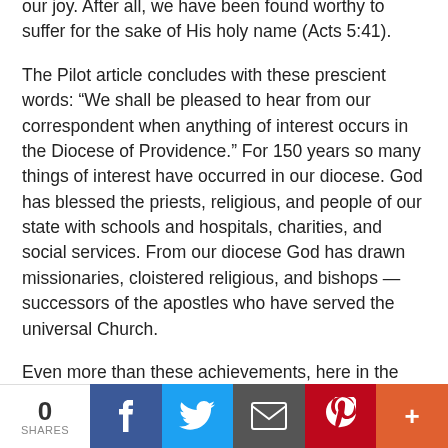our joy. After all, we have been found worthy to suffer for the sake of His holy name (Acts 5:41).
The Pilot article concludes with these prescient words: “We shall be pleased to hear from our correspondent when anything of interest occurs in the Diocese of Providence.” For 150 years so many things of interest have occurred in our diocese. God has blessed the priests, religious, and people of our state with schools and hospitals, charities, and social services. From our diocese God has drawn missionaries, cloistered religious, and bishops — successors of the apostles who have served the universal Church.
Even more than these achievements, here in the church of Providence so many people have come to meet Jesus — the God of Heaven taken on a human face. So many people — through the authentic
0 SHARES | Facebook | Twitter | Email | Pinterest | More